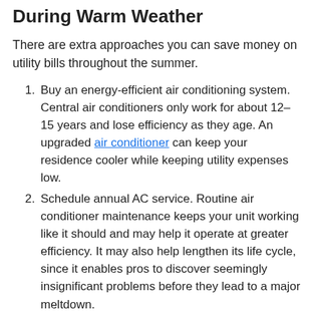During Warm Weather
There are extra approaches you can save money on utility bills throughout the summer.
Buy an energy-efficient air conditioning system. Central air conditioners only work for about 12–15 years and lose efficiency as they age. An upgraded air conditioner can keep your residence cooler while keeping utility expenses low.
Schedule annual AC service. Routine air conditioner maintenance keeps your unit working like it should and may help it operate at greater efficiency. It may also help lengthen its life cycle, since it enables pros to discover seemingly insignificant problems before they lead to a major meltdown.